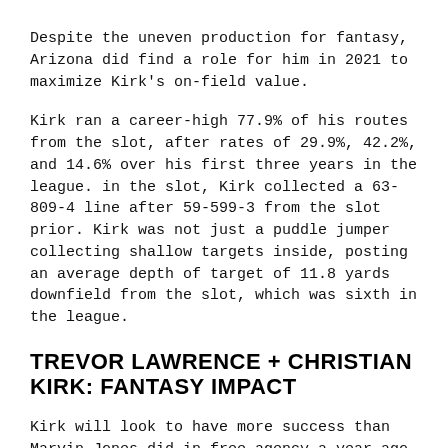Despite the uneven production for fantasy, Arizona did find a role for him in 2021 to maximize Kirk's on-field value.
Kirk ran a career-high 77.9% of his routes from the slot, after rates of 29.9%, 42.2%, and 14.6% over his first three years in the league. in the slot, Kirk collected a 63-809-4 line after 59-599-3 from the slot prior. Kirk was not just a puddle jumper collecting shallow targets inside, posting an average depth of target of 11.8 yards downfield from the slot, which was sixth in the league.
TREVOR LAWRENCE + CHRISTIAN KIRK: FANTASY IMPACT
Kirk will look to have more success than Marvin Jones did in free agency a year ago, but is another addition to aid the development of Trevor Lawrence. Lawrence had lofty expectations built up for multiple seasons on an Andrew